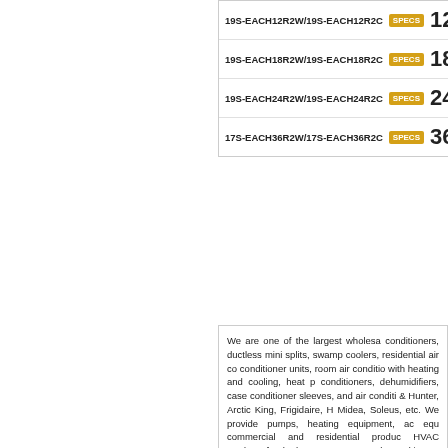19S-EACH12R2W/19S-EACH12R2C SPECS 12,000
19S-EACH18R2W/19S-EACH18R2C SPECS 18,000
19S-EACH24R2W/19S-EACH24R2C SPECS 24,000
17S-EACH36R2W/17S-EACH36R2C SPECS 36,000
We are one of the largest wholesa conditioners, ductless mini splits, swamp coolers, residential air co conditioner units, room air conditio with heating and cooling, heat p conditioners, dehumidifiers, case conditioner sleeves, and air conditi & Hunter, Arctic King, Frigidaire, H Midea, Soleus, etc. We provide pumps, heating equipment, ac equ commercial and residential produc HVAC products for the heater a customers located in Los Angeles surrounding cities and zip codes s 91522, 91526, 91502, 91504, 915 91326, 91327, 91328, 91329, 913 91606, 91607, 91608, 91609, 91 91618, Sylmar 91342, 91392, Pa 91416, 91426, 91436, Anaheim 9